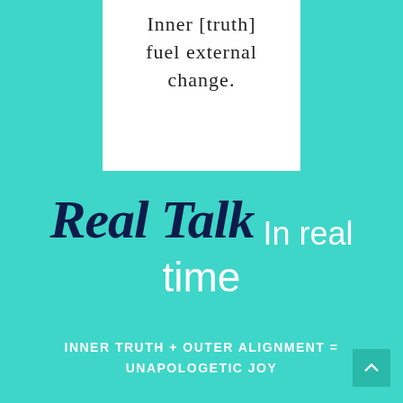[Figure (photo): A white card/note with handwritten text reading 'Inner [truth] fuel external change.' in black ink on white background]
Real Talk In real time
INNER TRUTH + OUTER ALIGNMENT = UNAPOLOGETIC JOY